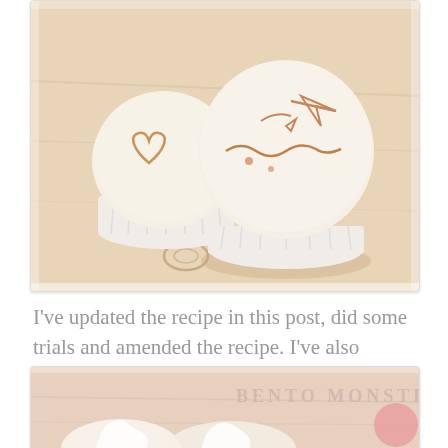[Figure (photo): Two cupcakes on a wooden surface — one in a white paper liner showing a heart-like caramel drawing, and one without liner showing caramel swirl and arrow patterns drawn on top.]
I've updated the recipe in this post, did some trials and amended the recipe. I've also decrease the quantity as I felt the previous recipe yield too many cakes.
[Figure (photo): Partial view of cupcakes on a wooden surface with 'BENTO MONSTERS' watermark text visible in the upper right, and a pink circle logo element.]